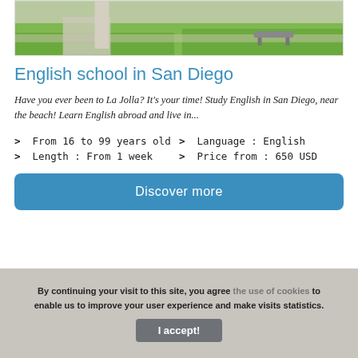[Figure (photo): Outdoor campus photo showing grass, concrete paths, a column, and a bench]
English school in San Diego
Have you ever been to La Jolla? It's your time! Study English in San Diego, near the beach! Learn English abroad and live in...
> From 16 to 99 years old
> Language : English
> Length : From 1 week
> Price from : 650 USD
Discover more
By continuing your visit to this site, you agree the use of cookies to enable us to improve your user experience and make visits statistics.
I accept!